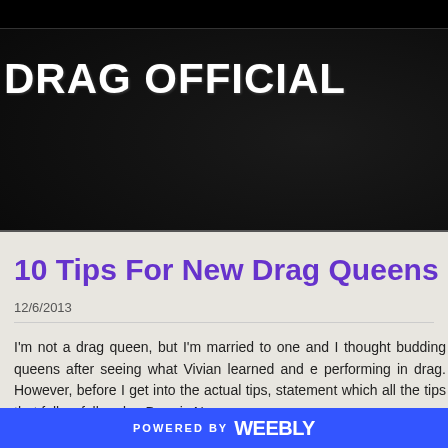DRAG OFFICIAL
10 Tips For New Drag Queens
12/6/2013
I'm not a drag queen, but I'm married to one and I thought budding queens after seeing what Vivian learned and e performing in drag. However, before I get into the actual tips, statement which all the tips that follow fall under. Drag is N
POWERED BY weebly